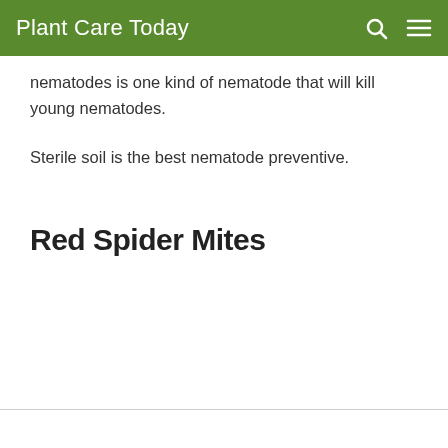Plant Care Today
nematodes is one kind of nematode that will kill young nematodes.
Sterile soil is the best nematode preventive.
Red Spider Mites